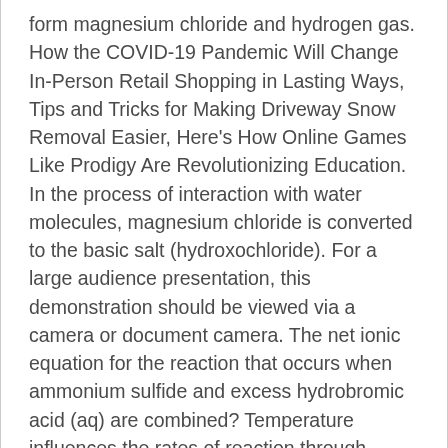form magnesium chloride and hydrogen gas. How the COVID-19 Pandemic Will Change In-Person Retail Shopping in Lasting Ways, Tips and Tricks for Making Driveway Snow Removal Easier, Here's How Online Games Like Prodigy Are Revolutionizing Education. In the process of interaction with water molecules, magnesium chloride is converted to the basic salt (hydroxochloride). For a large audience presentation, this demonstration should be viewed via a camera or document camera. The net ionic equation for the reaction that occurs when ammonium sulfide and excess hydrobromic acid (aq) are combined? Temperature influences the rates of reaction through kinetic energy, such that high temperatures increase the kinetic energy of reacting molecules therefore causing frequent collisions, which form products faster. Aim: My aim is to do an investigation into how